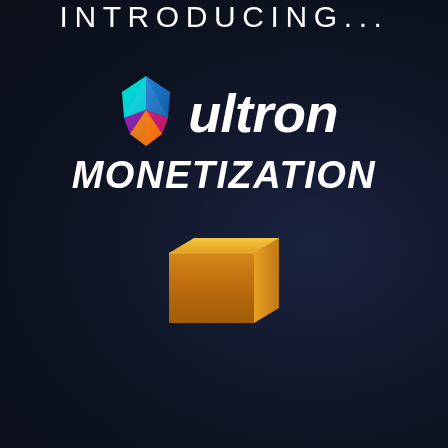INTRODUCING...
[Figure (logo): Ultron logo: colorful shield/gem icon in teal, purple, pink, and orange gradient colors, followed by the italic white text 'ultron']
MONETIZATION
[Figure (illustration): Partially visible gold/yellow product box at the bottom of the page]